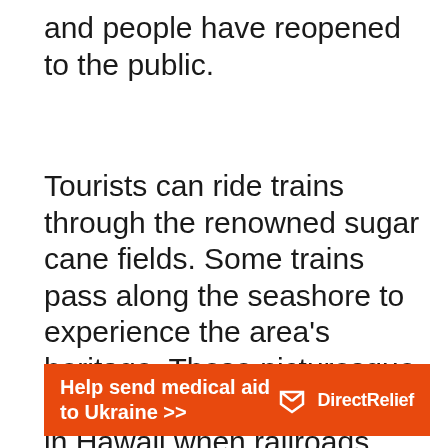and people have reopened to the public.
Tourists can ride trains through the renowned sugar cane fields. Some trains pass along the seashore to experience the area’s heritage. These picturesque trips recall an earlier period in Hawaii when railroads were standard.
[Figure (infographic): Orange advertisement banner reading 'Help send medical aid to Ukraine >>' with Direct Relief logo and icon on the right side]